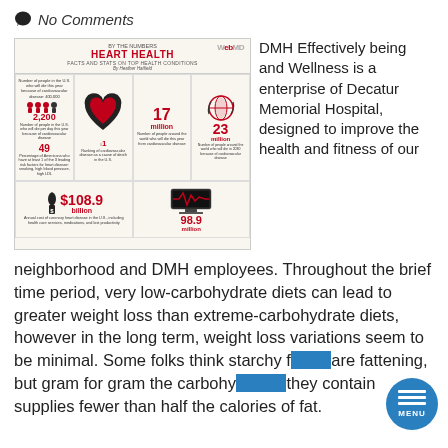No Comments
[Figure (infographic): WebMD Heart Health infographic: BY THE NUMBERS - HEART HEALTH. Facts and stats on top health conditions. By Heather Hatfield. Shows statistics: 2,200 people in the U.S. who will die per day due to cardiovascular disease; 49% of Americans who have at least 1 of the 3 leading risk factors for heart disease: smoking, high blood pressure, high LDL; #1 ranking of cardiovascular disease as a cause of death in the U.S.; 17 million number of people around the world who will die this year from cardiovascular disease; 23 million number of people around the world who will die in 2030 because of cardiovascular disease; $108.9 billion annual cost of coronary heart disease in the U.S., including health care services, medications, and lost productivity; 98.9 million (shown with heart monitor icon).]
DMH Effectively being and Wellness is a enterprise of Decatur Memorial Hospital, designed to improve the health and fitness of our neighborhood and DMH employees. Throughout the brief time period, very low-carbohydrate diets can lead to greater weight loss than extreme-carbohydrate diets, however in the long term, weight loss variations seem to be minimal. Some folks think starchy foods are fattening, but gram for gram the carbohydrates they contain supplies fewer than half the calories of fat.